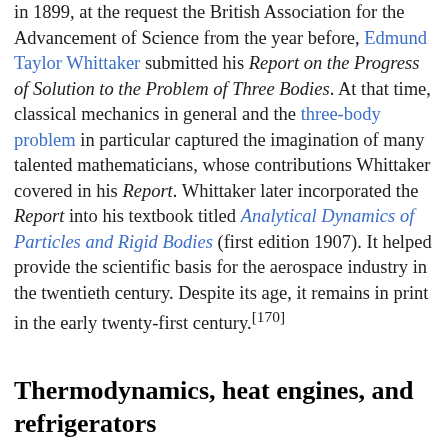in 1899, at the request the British Association for the Advancement of Science from the year before, Edmund Taylor Whittaker submitted his Report on the Progress of Solution to the Problem of Three Bodies. At that time, classical mechanics in general and the three-body problem in particular captured the imagination of many talented mathematicians, whose contributions Whittaker covered in his Report. Whittaker later incorporated the Report into his textbook titled Analytical Dynamics of Particles and Rigid Bodies (first edition 1907). It helped provide the scientific basis for the aerospace industry in the twentieth century. Despite its age, it remains in print in the early twenty-first century.[170]
Thermodynamics, heat engines, and refrigerators